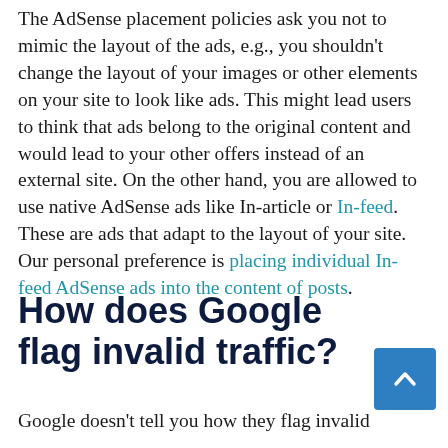The AdSense placement policies ask you not to mimic the layout of the ads, e.g., you shouldn't change the layout of your images or other elements on your site to look like ads. This might lead users to think that ads belong to the original content and would lead to your other offers instead of an external site. On the other hand, you are allowed to use native AdSense ads like In-article or In-feed. These are ads that adapt to the layout of your site. Our personal preference is placing individual In-feed AdSense ads into the content of posts.
How does Google flag invalid traffic?
Google doesn't tell you how they flag invalid